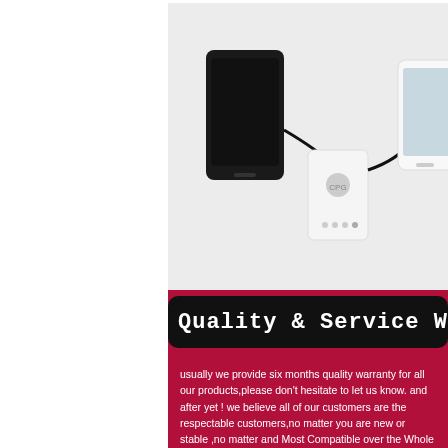[Figure (photo): Overhead view of two smartphones (one black, one white) connected via cables to a small white portable power bank/charger device, placed on a white fluffy surface.]
Quality & Service Warr...
usually we provide six months quality warranty for all our products,please don't hesitate to let us know. and after yet ! we believe all of our customers are the respectable customers,no matter you are new or stable ,no matter and Most Compatible over the Whole market.